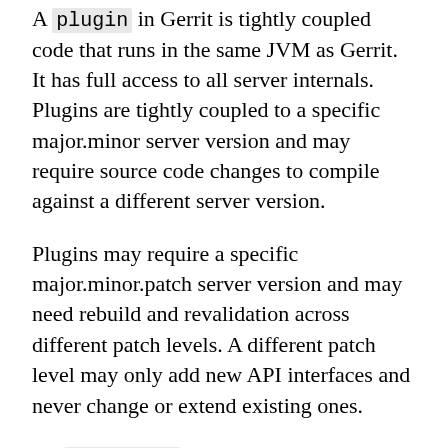A plugin in Gerrit is tightly coupled code that runs in the same JVM as Gerrit. It has full access to all server internals. Plugins are tightly coupled to a specific major.minor server version and may require source code changes to compile against a different server version.
Plugins may require a specific major.minor.patch server version and may need rebuild and revalidation across different patch levels. A different patch level may only add new API interfaces and never change or extend existing ones.
An extension in Gerrit runs inside of the same JVM as Gerrit in the same way as a plugin, but has limited visibility to the server's internals. The limited visibility reduces the extension's dependencies, enabling it to be compatible across a wider range of server versions.